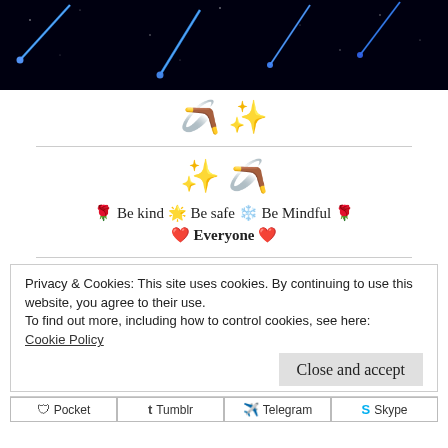[Figure (photo): Dark night sky with blue shooting stars/meteors streaking diagonally]
🪃 ✨
✨ 🪃
🌹 Be kind 🌟 Be safe ❄️ Be Mindful 🌹 ❤️ Everyone ❤️
Privacy & Cookies: This site uses cookies. By continuing to use this website, you agree to their use.
To find out more, including how to control cookies, see here:
Cookie Policy
Close and accept
Pocket  Tumblr  Telegram  Skype